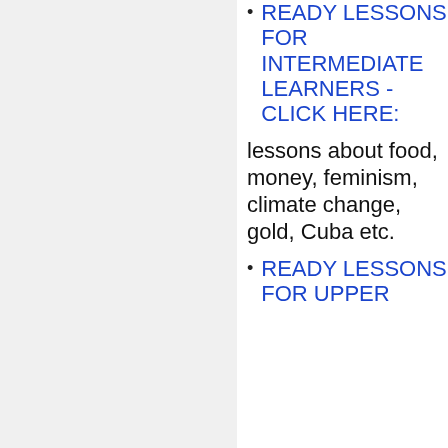READY LESSONS FOR INTERMEDIATE LEARNERS - CLICK HERE:
lessons about food, money, feminism, climate change, gold, Cuba etc.
READY LESSONS FOR UPPER